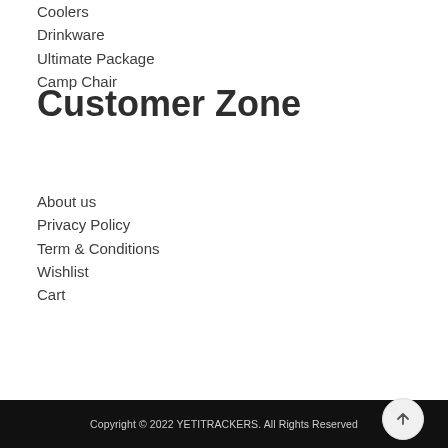Coolers
Drinkware
Ultimate Package
Camp Chair
Customer Zone
About us
Privacy Policy
Term & Conditions
Wishlist
Cart
Copyright © 2022 YETITRACKERS. All Rights Reserved